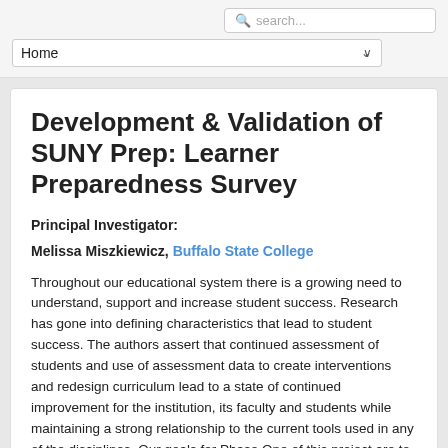search... | Home
Development & Validation of SUNY Prep: Learner Preparedness Survey
Principal Investigator:
Melissa Miszkiewicz, Buffalo State College
Throughout our educational system there is a growing need to understand, support and increase student success. Research has gone into defining characteristics that lead to student success. The authors assert that continued assessment of students and use of assessment data to create interventions and redesign curriculum lead to a state of continued improvement for the institution, its faculty and students while maintaining a strong relationship to the current tools used in any of the disciplines. Our goals for Phase One of this project are to develop, and validate an instrument designed to predict student success based on individual learner characteristics